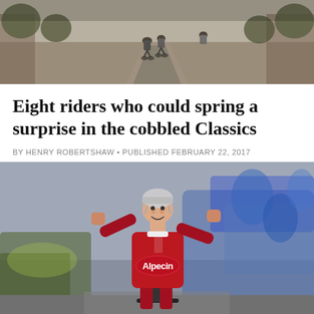[Figure (photo): Cyclists riding on a dirt/cobbled road, seen from behind, with trees lining the route]
Eight riders who could spring a surprise in the cobbled Classics
BY HENRY ROBERTSHAW • PUBLISHED FEBRUARY 22, 2017
[Figure (photo): A cyclist in a red Alpecin jersey celebrates a victory with arms raised, riding through a crowd of spectators]